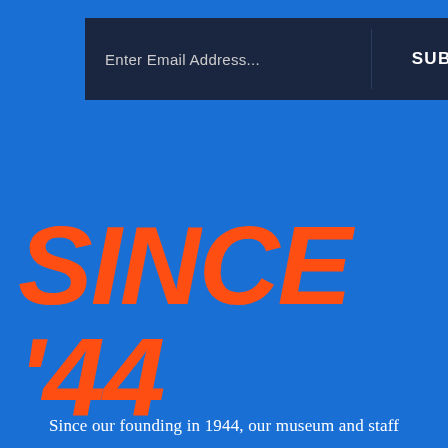[Figure (screenshot): Email newsletter signup bar with dark navy background. Contains a text input placeholder 'Enter Email Address...' on the left, a vertical divider, and a 'SUBMIT' button label on the right.]
SINCE '44
Since our founding in 1944, our museum and staff